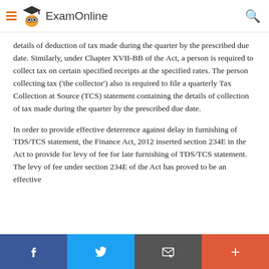ExamOnline
details of deduction of tax made during the quarter by the prescribed due date. Similarly, under Chapter XVII-BB of the Act, a person is required to collect tax on certain specified receipts at the specified rates. The person collecting tax ('the collector') also is required to file a quarterly Tax Collection at Source (TCS) statement containing the details of collection of tax made during the quarter by the prescribed due date.
In order to provide effective deterrence against delay in furnishing of TDS/TCS statement, the Finance Act, 2012 inserted section 234E in the Act to provide for levy of fee for late furnishing of TDS/TCS statement. The levy of fee under section 234E of the Act has proved to be an effective
f  [twitter]  [email]  +